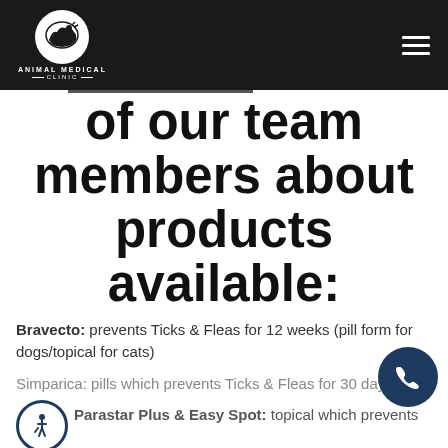Animal Medical Clinic
of our team members about products available:
Bravecto: prevents Ticks & Fleas for 12 weeks (pill form for dogs/topical for cats)
Simparica: pills which prevents Ticks & Fleas for 30 days
Parastar Plus & Easy Spot: topical which prevents